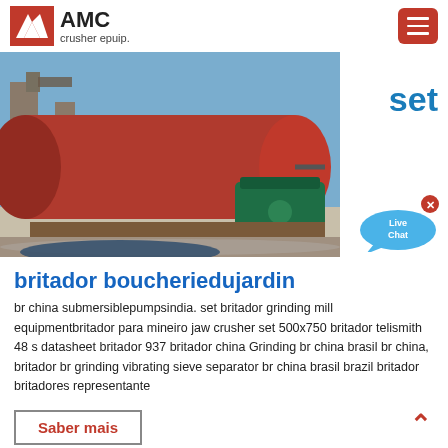[Figure (logo): AMC crusher epuip. logo with red chevron icon and hamburger menu button]
[Figure (photo): Industrial ball mill / grinding mill equipment at an outdoor facility with a large red cylindrical drum and green motor]
set
[Figure (illustration): Live Chat speech bubble icon in blue]
britador boucheriedujardin
br china submersiblepumpsindia. set britador grinding mill equipmentbritador para mineiro jaw crusher set 500x750 britador telismith 48 s datasheet britador 937 britador china Grinding br china brasil br china, britador br grinding vibrating sieve separator br china brasil brazil britador britadores representante
Saber mais